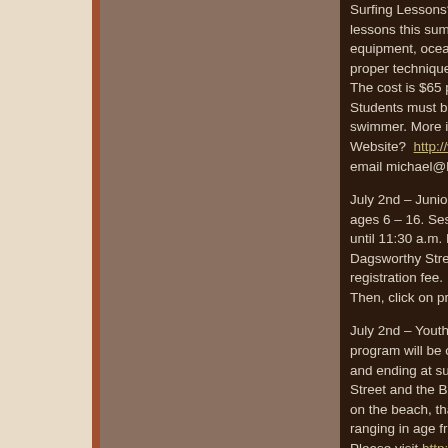Surfing Lessons? Liquid board offers lessons this summer and fall covering equipment, ocean safety, and proper technique for paddling. The cost is $65 per person. Students must be 6 years old and a swimmer. More info? Please visit our Website? http://www.liquidboa... or email michael@liquidboard...
July 2nd – Junior Lifeguard for ages 6 – 16. Sessions on ... until 11:30 a.m. Location? Dagsworthy Street and the ... registration fee. Interested? Then, click on programs.
July 2nd – Youth Recreation program will be offered on ... and ending at sunset, wea... Street and the Beach. This ... on the beach, that will mee... ranging in age from early a... Please visit http://www.deweyb... 6365.
Taxi Anyone? BEACH RID... Dispatch Service. Serving ...